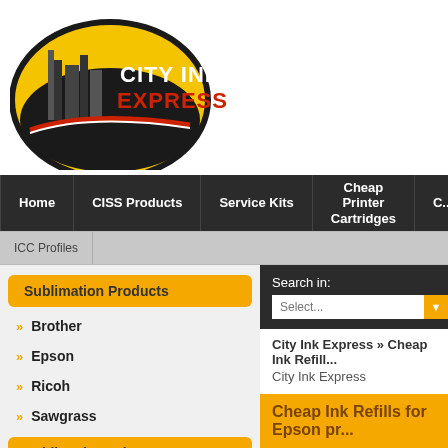[Figure (logo): City Ink Express logo: yellow/black oval with city skyline silhouette and train, with red and white text 'CITY INK EXPRESS']
Home | CISS Products | Service Kits | Cheap Printer Cartridges | C...
ICC Profiles
Sublimation Products
Brother
Epson
Ricoh
Sawgrass
Sublimation Printers
Brother
Search in:
Manufa...
City Ink Express » Cheap Ink Refill...
City Ink Express
Cheap Ink Refills for Epson pr...
Using our cheap ciss ink for Epson to reduce your ink refill print costs
Low cost ink refills for Epson Pr...